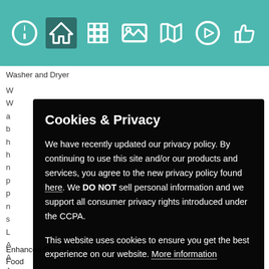[Figure (screenshot): Teal navigation bar with icons: info (i), home, grid/apps, image/gallery, map, play/video, thumbs up. Home icon is highlighted with darker teal background.]
Washer and Dryer
We have recently updated our privacy policy. By continuing to use this site and/or our products and services, you agree to the new privacy policy found here. We DO NOT sell personal information and we support all consumer privacy rights introduced under the CCPA.
Cookies & Privacy
We have recently updated our privacy policy. By continuing to use this site and/or our products and services, you agree to the new privacy policy found here. We DO NOT sell personal information and we support all consumer privacy rights introduced under the CCPA.

This website uses cookies to ensure you get the best experience on our website. More information
Accept Cookies & Privacy
Enhanced Cleaning
Food